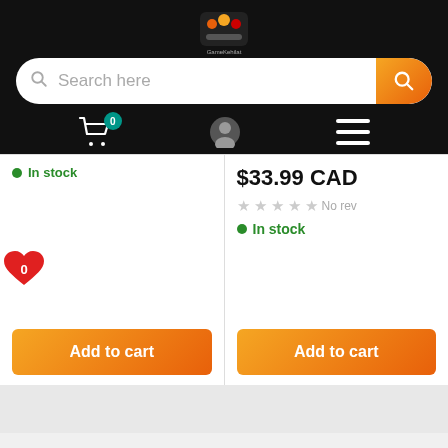[Figure (logo): GameKehilat colorful logo with game characters]
Search here
[Figure (screenshot): Shopping cart icon with badge showing 0]
[Figure (screenshot): User profile icon]
[Figure (screenshot): Hamburger menu icon]
In stock
$33.99 CAD
No reviews
In stock
Add to cart
Add to cart